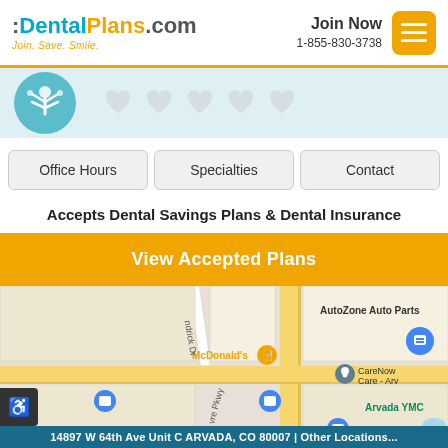:DentalPlans.com Join. Save. Smile. | Join Now 1-855-830-3738
[Figure (illustration): Dental/medical themed banner with teal icon of person with raised arms and dental tools, and five gray heart icons to the right]
Office Hours    Specialties    Contact
Accepts Dental Savings Plans & Dental Insurance
View Accepted Plans
[Figure (map): Google Maps screenshot showing area near W 65th Ave in Arvada, CO with landmarks including McDonald's, AutoZone Auto Parts, CareNow Urgent Care, Arvada YMCA, King Soopers, Goodwill Arvada]
14897 W 64th Ave Unit C ARVADA, CO 80007 | Other Locations...